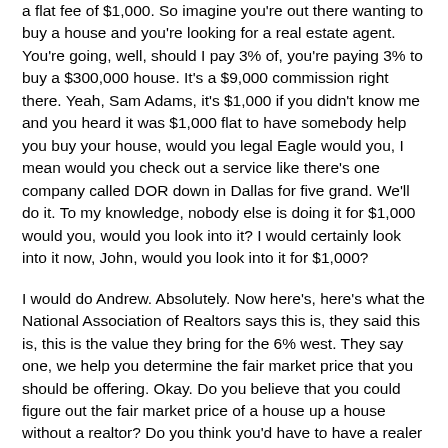a flat fee of $1,000. So imagine you're out there wanting to buy a house and you're looking for a real estate agent. You're going, well, should I pay 3% of, you're paying 3% to buy a $300,000 house. It's a $9,000 commission right there. Yeah, Sam Adams, it's $1,000 if you didn't know me and you heard it was $1,000 flat to have somebody help you buy your house, would you legal Eagle would you, I mean would you check out a service like there's one company called DOR down in Dallas for five grand. We'll do it. To my knowledge, nobody else is doing it for $1,000 would you, would you look into it? I would certainly look into it now, John, would you look into it for $1,000?
I would do Andrew. Absolutely. Now here's, here's what the National Association of Realtors says this is, they said this is, this is the value they bring for the 6% west. They say one, we help you determine the fair market price that you should be offering. Okay. Do you believe that you could figure out the fair market price of a house up a house without a realtor? Do you think you'd have to have a realer to figure that out? What do you think? You're a very smart guy. I don't know maybe. Oh, right. If you